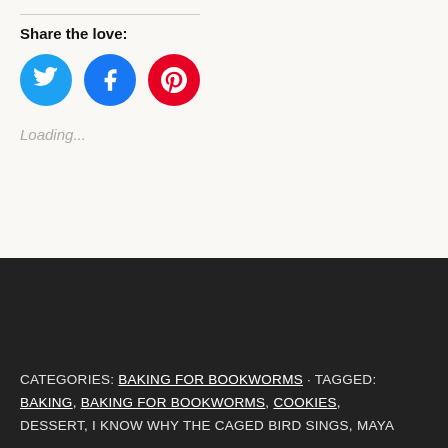Share the love:
[Figure (illustration): Three social media share buttons: Twitter (blue circle with bird icon), Facebook (blue circle with f icon), Pinterest (red circle with P icon)]
Loading...
CATEGORIES: BAKING FOR BOOKWORMS · TAGGED: BAKING, BAKING FOR BOOKWORMS, COOKIES, DESSERT, I KNOW WHY THE CAGED BIRD SINGS, MAYA